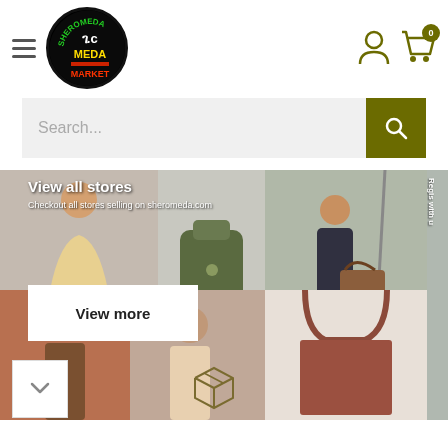[Figure (logo): Sheromeda Market logo — circular black badge with Amharic text and colored lettering]
[Figure (screenshot): E-commerce website header with hamburger menu, logo, search bar, user icon, and cart with badge showing 0]
Search...
View all stores
Checkout all stores selling on sheromeda.com
View more
Regis
with u
[Figure (photo): Collage of fashion and accessories photos: people, backpack, handbag]
[Figure (other): Package/box icon at bottom center]